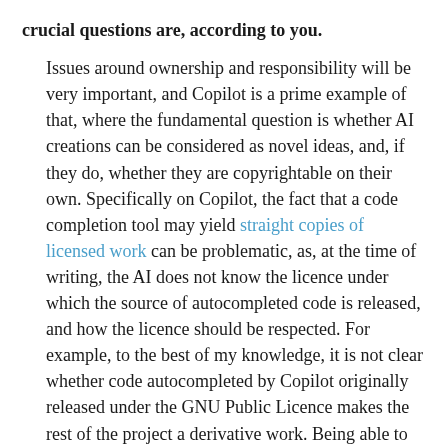crucial questions are, according to you.
Issues around ownership and responsibility will be very important, and Copilot is a prime example of that, where the fundamental question is whether AI creations can be considered as novel ideas, and, if they do, whether they are copyrightable on their own. Specifically on Copilot, the fact that a code completion tool may yield straight copies of licensed work can be problematic, as, at the time of writing, the AI does not know the licence under which the source of autocompleted code is released, and how the licence should be respected. For example, to the best of my knowledge, it is not clear whether code autocompleted by Copilot originally released under the GNU Public Licence makes the rest of the project a derivative work. Being able to freely use source code often comes with obligations that need to be fulfilled, regardless of whether it is accessed by an AI or a human being. Our REUSE project, which aims to make it easier to programmatically understand how a project and its